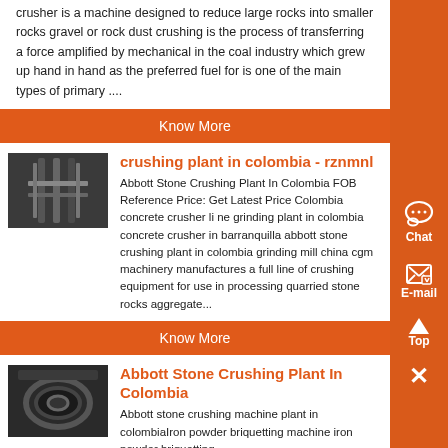crusher is a machine designed to reduce large rocks into smaller rocks gravel or rock dust crushing is the process of transferring a force amplified by mechanical in the coal industry which grew up hand in hand as the preferred fuel for is one of the main types of primary ....
Know More
crushing plant in colombia - rznmnl
Abbott Stone Crushing Plant In Colombia FOB Reference Price: Get Latest Price Colombia concrete crusher li ne grinding plant in colombia concrete crusher in barranquilla abbott stone crushing plant in colombia grinding mill china cgm machinery manufactures a full line of crushing equipment for use in processing quarried stone rocks aggregate...
Know More
Abbott Stone Crushing Plant In Colombia
Abbott stone crushing machine plant in colombiaIron powder briquetting machine iron powder briquetting